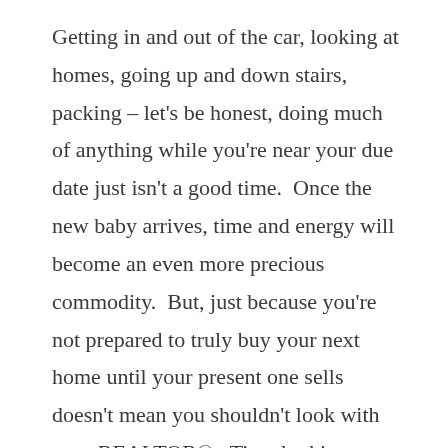Getting in and out of the car, looking at homes, going up and down stairs, packing – let's be honest, doing much of anything while you're near your due date just isn't a good time.  Once the new baby arrives, time and energy will become an even more precious commodity.  But, just because you're not prepared to truly buy your next home until your present one sells doesn't mean you shouldn't look with your REALTOR®.  Time looking at homes, hearing your likes and dislikes, sheds light on your personality and other intangibles often not expressed during the initial discussions regarding your needs/wants in your next home.  You'll find that as time progresses, your REALTOR® is able to